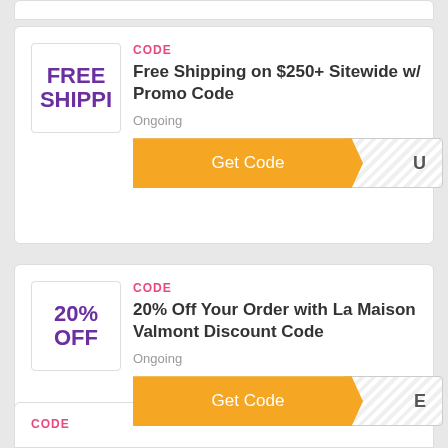[Figure (other): Coupon card: Free Shipping on $250+ Sitewide w/ Promo Code. Badge shows FREE SHIPPI. Label: CODE. Status: Ongoing. Get Code button with partially revealed code ending in U.]
[Figure (other): Coupon card: 20% Off Your Order with La Maison Valmont Discount Code. Badge shows 20% OFF. Label: CODE. Status: Ongoing. Get Code button with partially revealed code ending in E.]
[Figure (other): Partial coupon card at bottom showing CODE label only.]